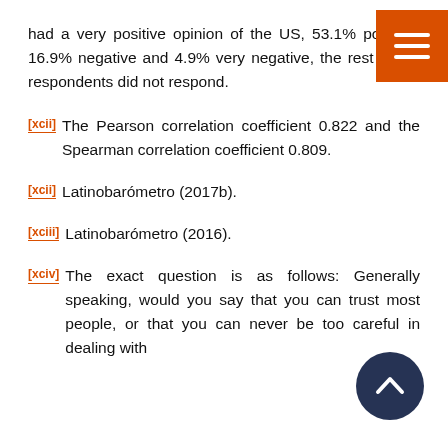had a very positive opinion of the US, 53.1% positive, 16.9% negative and 4.9% very negative, the rest of the respondents did not respond.
[xcii] The Pearson correlation coefficient 0.822 and the Spearman correlation coefficient 0.809.
[xcii] Latinobarómetro (2017b).
[xciii] Latinobarómetro (2016).
[xciv] The exact question is as follows: Generally speaking, would you say that you can trust most people, or that you can never be too careful in dealing with